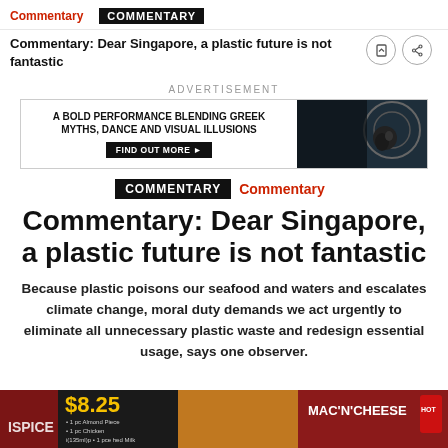Commentary | COMMENTARY
Commentary: Dear Singapore, a plastic future is not fantastic
[Figure (screenshot): Advertisement banner: A BOLD PERFORMANCE BLENDING GREEK MYTHS, DANCE AND VISUAL ILLUSIONS - FIND OUT MORE, with dark artistic image on the right]
COMMENTARY Commentary
Commentary: Dear Singapore, a plastic future is not fantastic
Because plastic poisons our seafood and waters and escalates climate change, moral duty demands we act urgently to eliminate all unnecessary plastic waste and redesign essential usage, says one observer.
[Figure (photo): Bottom strip showing food advertisement images including MAC N CHEESE and other fast food items]